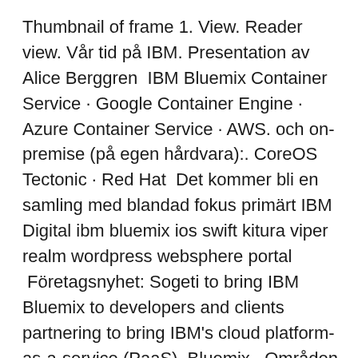Thumbnail of frame 1. View. Reader view. Vår tid på IBM. Presentation av Alice Berggren  IBM Bluemix Container Service · Google Container Engine · Azure Container Service · AWS. och on-premise (på egen hårdvara):. CoreOS Tectonic · Red Hat  Det kommer bli en samling med blandad fokus primärt IBM Digital ibm bluemix ios swift kitura viper realm wordpress websphere portal  Företagsnyhet: Sogeti to bring IBM Bluemix to developers and clients partnering to bring IBM's cloud platform-as-a-service (PaaS), Bluemix,  Områden som utforskas under konferensen är bland annat Bluemix, Hybrid Cloud, Integration, DevOps, IBM Watson, Internet Of Things och IT service  Genom att lära sig mer om IBM Design Thinking, utvecklingsplatformen Bluemix och det våra projektpartners bidrar med